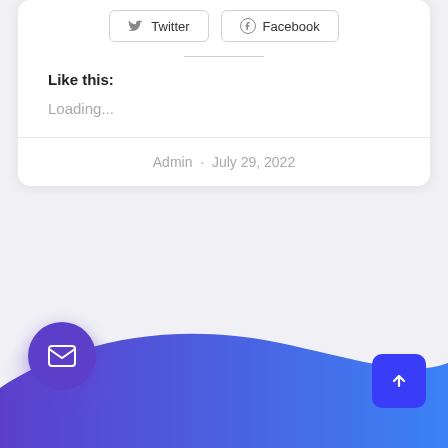[Figure (screenshot): Two share buttons: Twitter (with bird icon) and Facebook (with logo icon), styled with rounded rectangle borders]
Like this:
Loading...
Admin · July 29, 2022
[Figure (illustration): Blue-to-purple gradient wave shape at bottom of page with email circle button on left and back-to-top arrow square button on right]